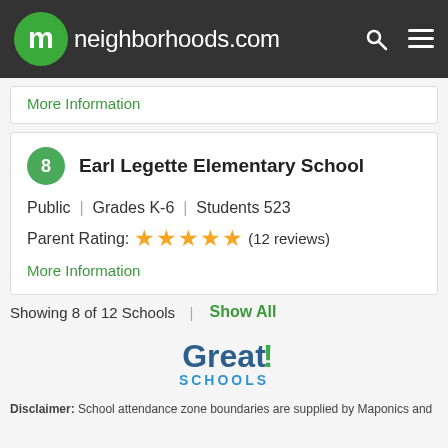neighborhoods.com
More Information
Earl Legette Elementary School
Public | Grades K-6 | Students 523
Parent Rating: ★★★★★ (12 reviews)
More Information
Showing 8 of 12 Schools | Show All
[Figure (logo): GreatSchools logo with 'Great!' in dark blue and green exclamation mark, 'SCHOOLS' in light blue below]
Disclaimer: School attendance zone boundaries are supplied by Maponics and